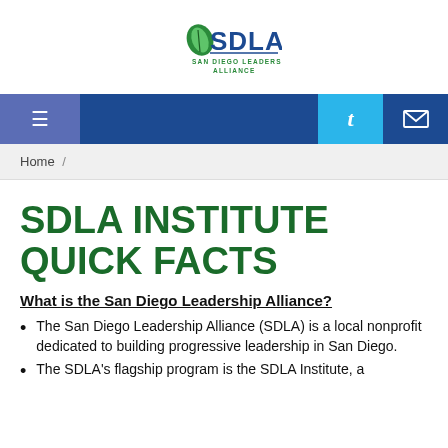[Figure (logo): SDLA San Diego Leadership Alliance logo with leaf icon]
Navigation bar with menu, Twitter, and email icons
Home /
SDLA INSTITUTE QUICK FACTS
What is the San Diego Leadership Alliance?
The San Diego Leadership Alliance (SDLA) is a local nonprofit dedicated to building progressive leadership in San Diego.
The SDLA's flagship program is the SDLA Institute, a